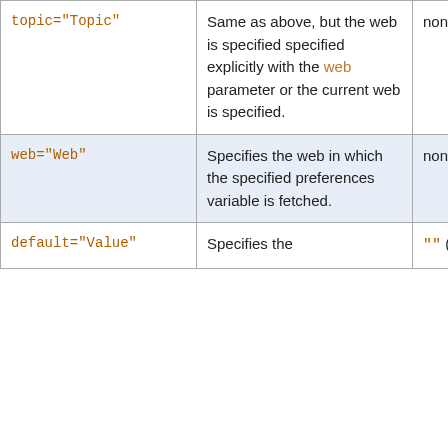| Parameter | Description | Default |
| --- | --- | --- |
| topic="Topic" | Same as above, but the web is specified specified explicitly with the web parameter or the current web is specified. | none |
| web="Web" | Specifies the web in which the specified preferences variable is fetched. | none |
| default="Value" | Specifies the | "" (null |